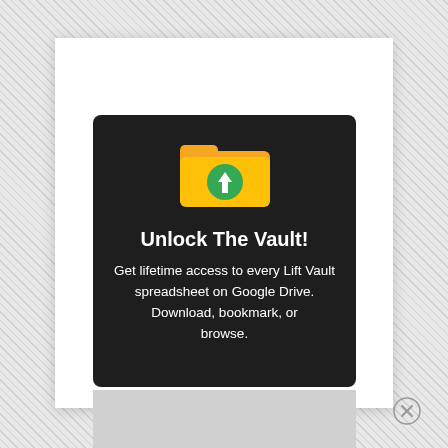[Figure (illustration): A promotional modal/popup card with dark background showing a yellow folder icon with a green download arrow circle, heading 'Unlock The Vault!', and descriptive text about lifetime access to Lift Vault spreadsheets on Google Drive.]
Unlock The Vault!
Get lifetime access to every Lift Vault spreadsheet on Google Drive. Download, bookmark, or browse.